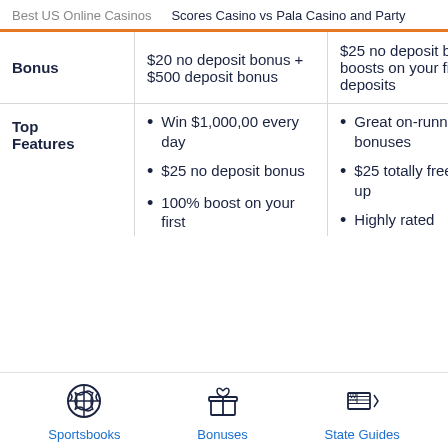Best US Online Casinos   Scores Casino vs Pala Casino and Party
|  | Col1 | Col2 |
| --- | --- | --- |
| Bonus | $20 no deposit bonus + $500 deposit bonus | $25 no deposit bonus + boosts on your first three deposits |
| Top Features | • Win $1,000,00 every day
• $25 no deposit bonus
• 100% boost on your first | • Great on-running bonuses
• $25 totally free on sign up
• Highly rated |
Sportsbooks   Bonuses   State Guides